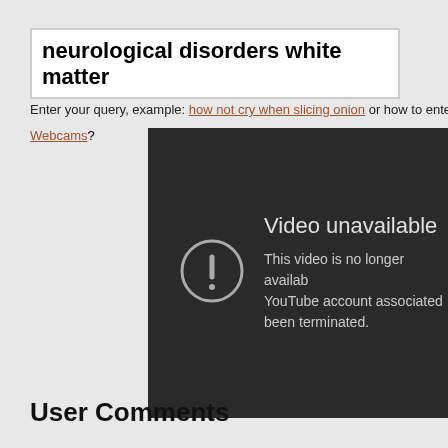neurological disorders white matter
Enter your query, example: how not cry when slicing onion or how to enter...
Webcams?
[Figure (screenshot): YouTube video unavailable error screen with dark background. Shows a circular exclamation mark icon and text: 'Video unavailable - This video is no longer availab... YouTube account associated... been terminated.']
User Comments